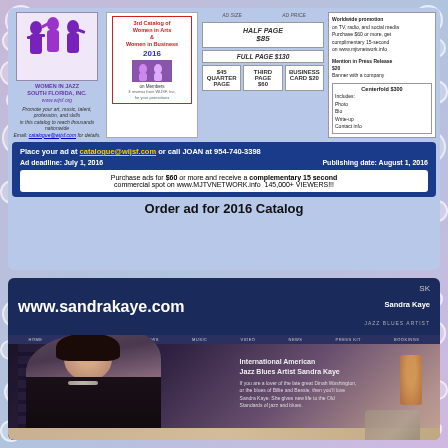[Figure (infographic): Women in Jazz South Florida, Inc. advertisement for 2016 Catalog. Shows logo with silhouettes of women musicians, catalog image, pricing grid, and promotional information. Blue bar with email, phone, deadlines, and purchase incentive.]
Place your ad at catalogue@wijsf.com or call JOAN at 954-740-3398
Ad deadline: July 1, 2016    Publishing date: August 1, 2016
Purchase ads for $60 or more and receive a complementary 15 second commercial spot on www.MJTVNETWORK.info  145,000+ VIEWERS!!!
Order ad for 2016 Catalog
[Figure (screenshot): Screenshot of www.sandrakaye.com website showing International American Jazz Blues Artist Sandra Kaye, with photo of woman in black outfit sitting on couch, navigation bar, and text about her jazz and blues artistry.]